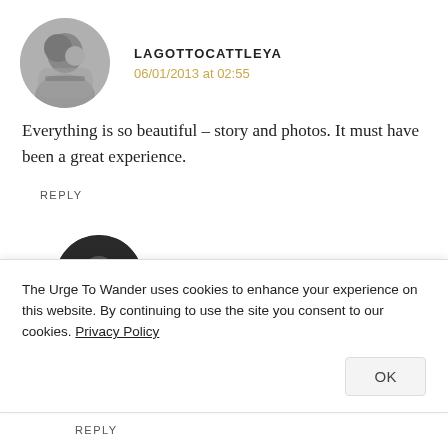[Figure (photo): Circular avatar photo of lagottocattleya commenter, black and white photo of a person]
LAGOTTOCATTLEYA
06/01/2013 at 02:55
Everything is so beautiful – story and photos. It must have been a great experience.
REPLY
[Figure (photo): Circular avatar photo of Madhu commenter, person with camera and sunglasses]
MADHU
07/01/2013 at 00:19
The Urge To Wander uses cookies to enhance your experience on this website. By continuing to use the site you consent to our cookies. Privacy Policy
OK
REPLY